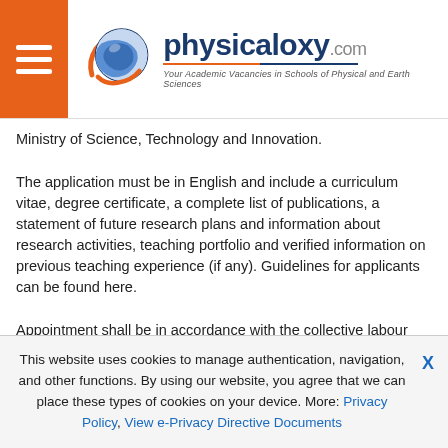[Figure (logo): Physicaloxy.com logo with globe icon, orange hamburger menu button on left, brand name in dark blue with tagline 'Your Academic Vacancies in Schools of Physical and Earth Sciences']
Ministry of Science, Technology and Innovation.
The application must be in English and include a curriculum vitae, degree certificate, a complete list of publications, a statement of future research plans and information about research activities, teaching portfolio and verified information on previous teaching experience (if any). Guidelines for applicants can be found here.
Appointment shall be in accordance with the collective labour agreement between the Danish Ministry of Finance and the Danish Confederation of Professional Associations. Further information on qualification requirements and job content may be found in the Memorandum on Job Structure for Academic Staff at Danish
This website uses cookies to manage authentication, navigation, and other functions. By using our website, you agree that we can place these types of cookies on your device. More: Privacy Policy, View e-Privacy Directive Documents